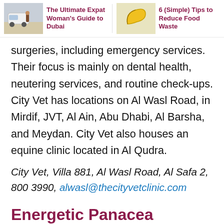[Figure (other): Header with two article previews: 'The Ultimate Expat Woman's Guide to Dubai' with a car/person image, and '6 (Simple) Tips to Reduce Food Waste' with a banana image]
surgeries, including emergency services. Their focus is mainly on dental health, neutering services, and routine check-ups. City Vet has locations on Al Wasl Road, in Mirdif, JVT, Al Ain, Abu Dhabi, Al Barsha, and Meydan. City Vet also houses an equine clinic located in Al Qudra.
City Vet, Villa 881, Al Wasl Road, Al Safa 2, 800 3990, alwasl@thecityvetclinic.com
Energetic Panacea Veterinary Clinic